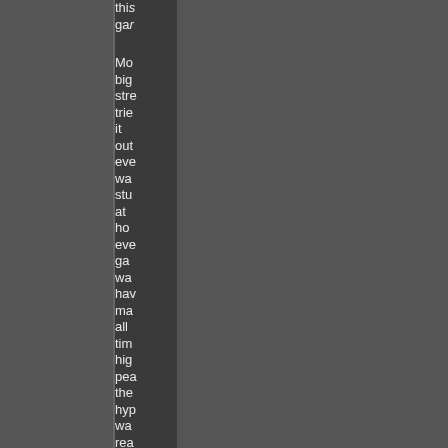this ga- Mo- big str- trie- it out- eve wa- stu- at ho- eve ga- wa- hav- ma- all tim- hig- pea- the hyp- wa- rea- anc wh doe-